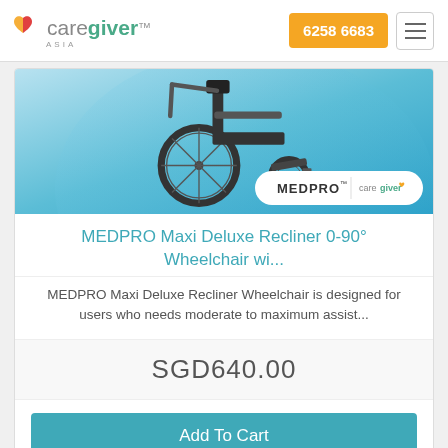[Figure (logo): Caregiver Asia logo with orange/red heart icon and teal 'giver' text]
6258 6683
[Figure (photo): MEDPRO wheelchair product photo on blue gradient background with MEDPRO and Caregiver Asia brand badges]
MEDPRO Maxi Deluxe Recliner 0-90° Wheelchair wi...
MEDPRO Maxi Deluxe Recliner Wheelchair is designed for users who needs moderate to maximum assist...
SGD640.00
Add To Cart